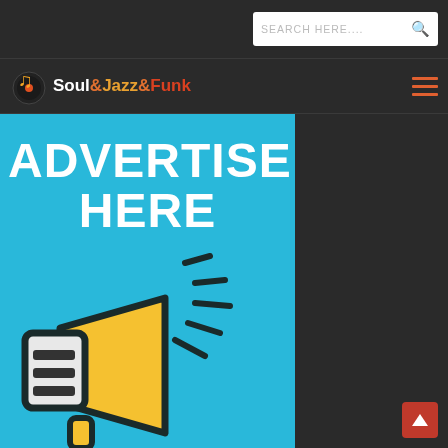SEARCH HERE....
Soul&Jazz&Funk
[Figure (infographic): Advertisement banner with cyan/blue background showing 'ADVERTISE HERE' text in large white bold letters and a yellow megaphone illustration with sound waves]
[Figure (other): Scroll to top button - red square with white upward arrow]